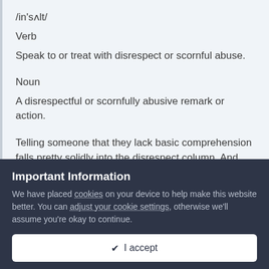/in'sʌlt/
Verb
Speak to or treat with disrespect or scornful abuse.
Noun
A disrespectful or scornfully abusive remark or action.
Telling someone that they lack basic comprehension falls pretty solidly into the disrespect column. And whether or
Important Information
We have placed cookies on your device to help make this website better. You can adjust your cookie settings, otherwise we'll assume you're okay to continue.
✔ I accept